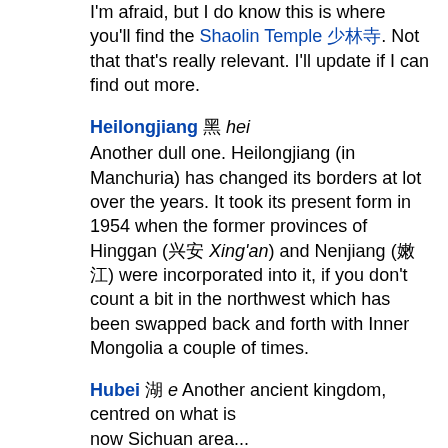I'm afraid, but I do know this is where you'll find the Shaolin Temple 少林寺. Not that that's really relevant. I'll update if I can find out more.
Heilongjiang 黑 hei Another dull one. Heilongjiang (in Manchuria) has changed its borders at lot over the years. It took its present form in 1954 when the former provinces of Hinggan (兴安 Xing'an) and Nenjiang (嫩江) were incorporated into it, if you don't count a bit in the northwest which has been swapped back and forth with Inner Mongolia a couple of times.
Hubei 湖 e Another ancient kingdom, centred on what is now the Sichuan area...